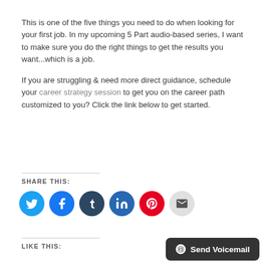This is one of the five things you need to do when looking for your first job. In my upcoming 5 Part audio-based series, I want to make sure you do the right things to get the results you want...which is a job.
If you are struggling & need more direct guidance, schedule your career strategy session to get you on the career path customized to you? Click the link below to get started.
SHARE THIS:
[Figure (infographic): Row of 6 social sharing icon circles: Twitter (blue), Facebook (blue), Tumblr (dark blue), LinkedIn (blue), Pinterest (red), Email (gray)]
LIKE THIS:
[Figure (infographic): Send Voicemail button in dark background at bottom right]